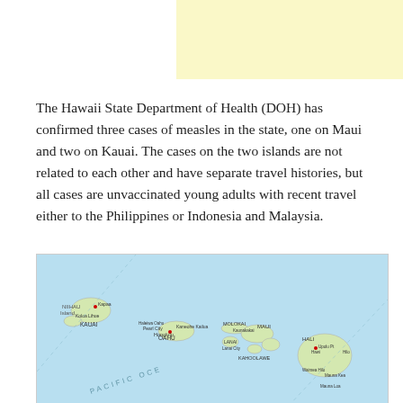[Figure (other): Yellow banner/advertisement area at top of page]
The Hawaii State Department of Health (DOH) has confirmed three cases of measles in the state, one on Maui and two on Kauai. The cases on the two islands are not related to each other and have separate travel histories, but all cases are unvaccinated young adults with recent travel either to the Philippines or Indonesia and Malaysia.
[Figure (map): Map of the Hawaiian Islands chain showing the Pacific Ocean, with islands labeled including Kauai, Oahu (with Honolulu, Pearl City, Kaneohe), Molokai, Lanai, Maui, and Hawaii (Big Island). Text reading PACIFIC OCEAN appears diagonally across the lower portion of the map.]